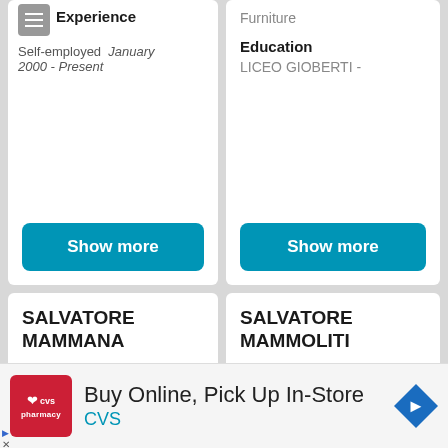Experience
Self-employed  January 2000 - Present
Furniture
Education
LICEO GIOBERTI -
Show more
Show more
SALVATORE MAMMANA
SALVATORE MAMMOLITI
Buy Online, Pick Up In-Store CVS